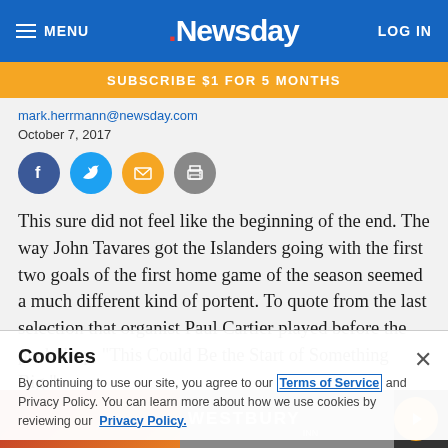MENU | Newsday | LOG IN
SUBSCRIBE $1 FOR 5 MONTHS
mark.herrmann@newsday.com
October 7, 2017
[Figure (infographic): Social sharing icons: Facebook, Twitter, Email, Print]
This sure did not feel like the beginning of the end. The way John Tavares got the Islanders going with the first two goals of the first home game of the season seemed a much different kind of portent. To quote from the last selection that organist Paul Cartier played before the puck drop, "This Could Be the Start of Something Big."
Which is of course the way Tavares wants it to feel.
He do...
Cookies
By continuing to use our site, you agree to our Terms of Service and Privacy Policy. You can learn more about how we use cookies by reviewing our Privacy Policy.